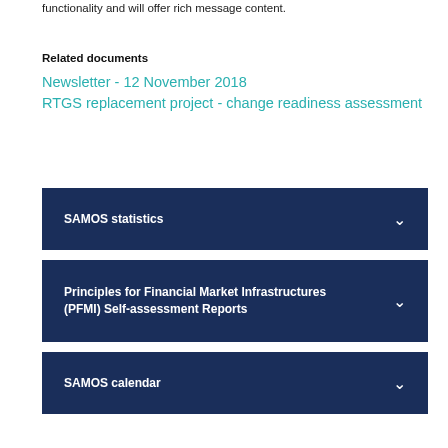functionality and will offer rich message content.
Related documents
Newsletter - 12 November 2018
RTGS replacement project - change readiness assessment
SAMOS statistics
Principles for Financial Market Infrastructures (PFMI) Self-assessment Reports
SAMOS calendar